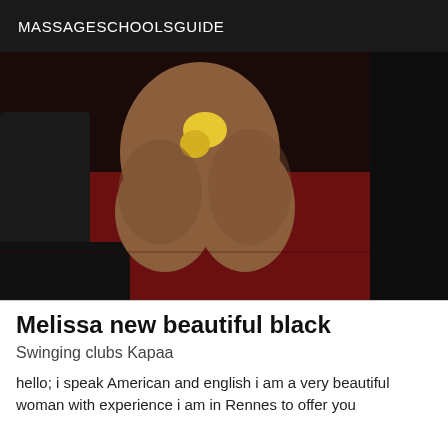MASSAGESCHOOLSGUIDE
[Figure (photo): Photo showing a person kneeling on a dark red surface near a black leather couch, holding a yellow object]
Melissa new beautiful black
Swinging clubs Kapaa
hello; i speak American and english i am a very beautiful woman with experience i am in Rennes to offer you